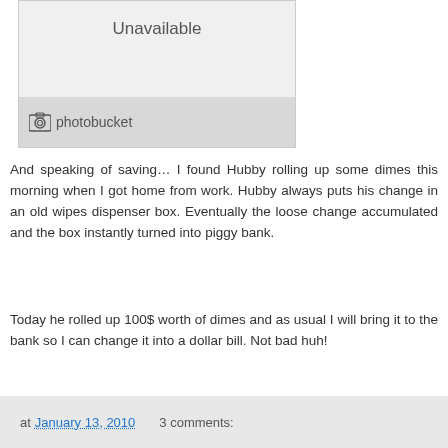[Figure (photo): Photobucket image unavailable placeholder with gray background showing 'Unavailable' text and Photobucket logo bar at bottom]
And speaking of saving… I found Hubby rolling up some dimes this morning when I got home from work. Hubby always puts his change in an old wipes dispenser box. Eventually the loose change accumulated and the box instantly turned into piggy bank.
Today he rolled up 100$ worth of dimes and as usual I will bring it to the bank so I can change it into a dollar bill. Not bad huh!
at January 13, 2010   3 comments: